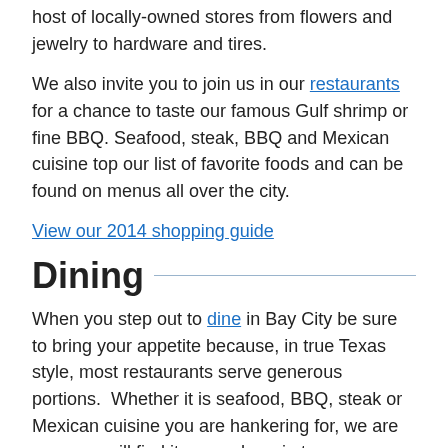host of locally-owned stores from flowers and jewelry to hardware and tires.
We also invite you to join us in our restaurants for a chance to taste our famous Gulf shrimp or fine BBQ. Seafood, steak, BBQ and Mexican cuisine top our list of favorite foods and can be found on menus all over the city.
View our 2014 shopping guide
Dining
When you step out to dine in Bay City be sure to bring your appetite because, in true Texas style, most restaurants serve generous portions.  Whether it is seafood, BBQ, steak or Mexican cuisine you are hankering for, we are sure you will find it somewhere in town.  Experience uniquely southern dishes such as grits, okra or buttermilk pie.  Try some choice barbecued meats or step out for fried catfish or gumbo.  There are about forty eateries in Bay City and with more opening up all the time you are sure to